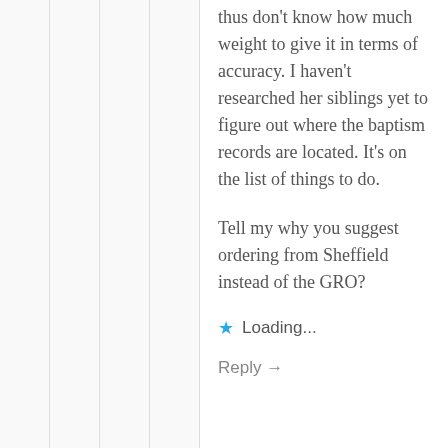thus don't know how much weight to give it in terms of accuracy. I haven't researched her siblings yet to figure out where the baptism records are located. It's on the list of things to do.
Tell my why you suggest ordering from Sheffield instead of the GRO?
★ Loading...
Reply →